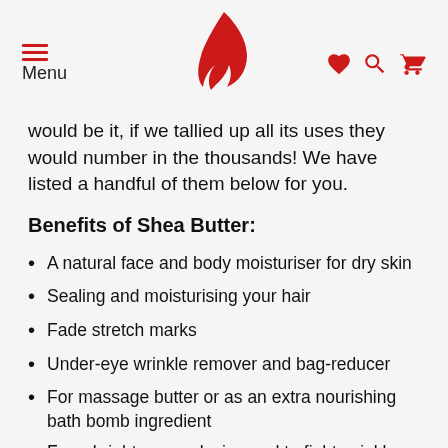Menu [hamburger icon] [flame logo] [heart icon] [search icon] [cart icon]
would be it, if we tallied up all its uses they would number in the thousands! We have listed a handful of them below for you.
Benefits of Shea Butter:
A natural face and body moisturiser for dry skin
Sealing and moisturising your hair
Fade stretch marks
Under-eye wrinkle remover and bag-reducer
For massage butter or as an extra nourishing bath bomb ingredient
For a brighter complexion and to fight wrinkles
Conditioning the scalp alleviating dandruff
As a base for homemade deodorant